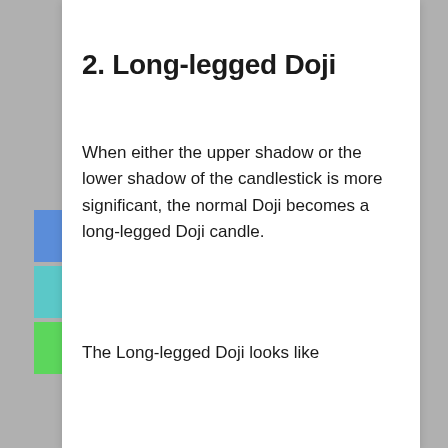2. Long-legged Doji
When either the upper shadow or the lower shadow of the candlestick is more significant, the normal Doji becomes a long-legged Doji candle.
The Long-legged Doji looks like